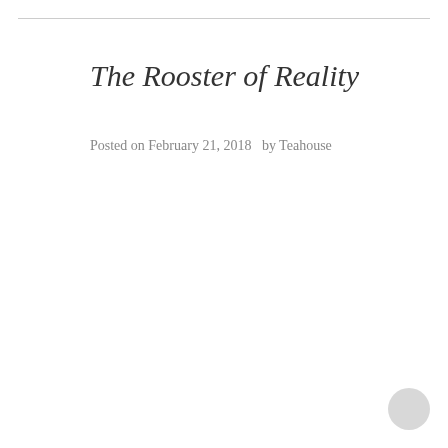The Rooster of Reality
Posted on February 21, 2018   by Teahouse